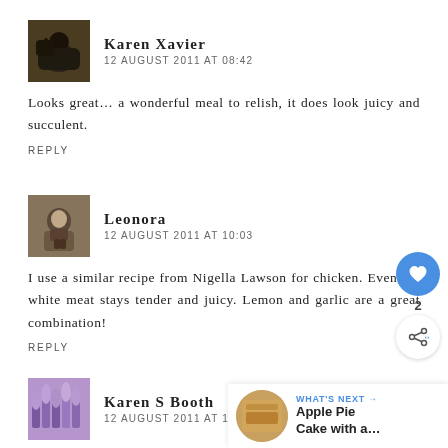[Figure (photo): Avatar photo of Karen Xavier, dark image of a cow or animal in a field]
Karen Xavier
12 AUGUST 2011 AT 08:42
Looks great... a wonderful meal to relish, it does look juicy and succulent.
REPLY
[Figure (photo): Avatar photo of Leonora, sepia toned image of a person]
Leonora
12 AUGUST 2011 AT 10:03
I use a similar recipe from Nigella Lawson for chicken. Even the white meat stays tender and juicy. Lemon and garlic are a great combination!
REPLY
[Figure (photo): Avatar photo of Karen S Booth, purple flowers]
Karen S Booth
12 AUGUST 2011 AT 10:17